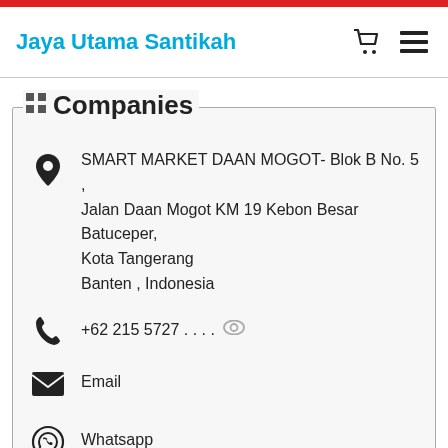Jaya Utama Santikah
Companies
SMART MARKET DAAN MOGOT- Blok B No. 5 , Jalan Daan Mogot KM 19 Kebon Besar Batuceper, Kota Tangerang
Banten , Indonesia
+62 215 5727 . . . .
Email
Whatsapp